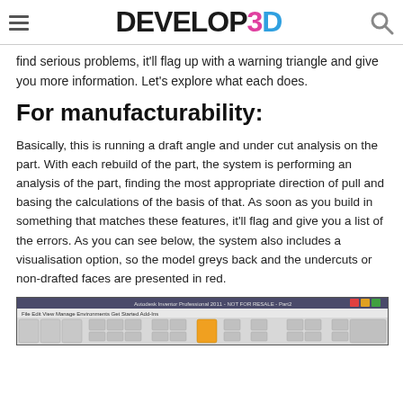DEVELOP3D
find serious problems, it'll flag up with a warning triangle and give you more information. Let's explore what each does.
For manufacturability:
Basically, this is running a draft angle and under cut analysis on the part. With each rebuild of the part, the system is performing an analysis of the part, finding the most appropriate direction of pull and basing the calculations of the basis of that. As soon as you build in something that matches these features, it'll flag and give you a list of the errors. As you can see below, the system also includes a visualisation option, so the model greys back and the undercuts or non-drafted faces are presented in red.
[Figure (screenshot): Screenshot of a CAD/CAM software toolbar interface, showing ribbon menu with various modeling tools and commands.]